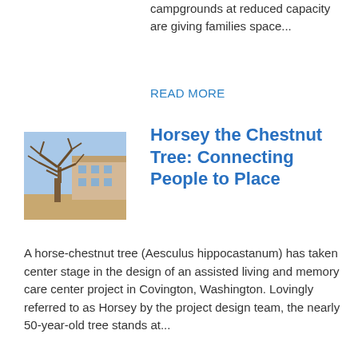campgrounds at reduced capacity are giving families space...
READ MORE
[Figure (photo): Photograph of a large bare chestnut tree in front of a building on a clear day]
Horsey the Chestnut Tree: Connecting People to Place
A horse-chestnut tree (Aesculus hippocastanum) has taken center stage in the design of an assisted living and memory care center project in Covington, Washington. Lovingly referred to as Horsey by the project design team, the nearly 50-year-old tree stands at...